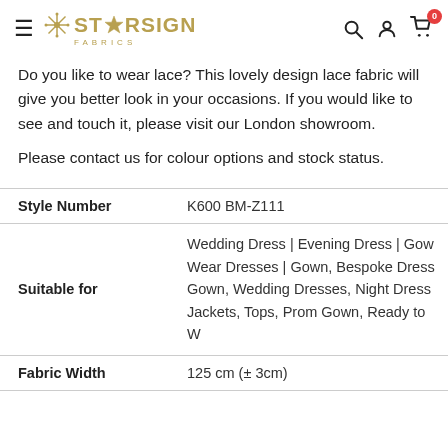STARSIGN FABRICS — navigation header with hamburger menu, search, account, and cart icons
Do you like to wear lace? This lovely design lace fabric will give you better look in your occasions. If you would like to see and touch it, please visit our London showroom.
Please contact us for colour options and stock status.
|  |  |
| --- | --- |
| Style Number | K600 BM-Z111 |
| Suitable for | Wedding Dress | Evening Dress | Gown Wear Dresses | Gown, Bespoke Dress Gown, Wedding Dresses, Night Dress Jackets, Tops, Prom Gown, Ready to W |
| Fabric Width | 125 cm (± 3cm) |